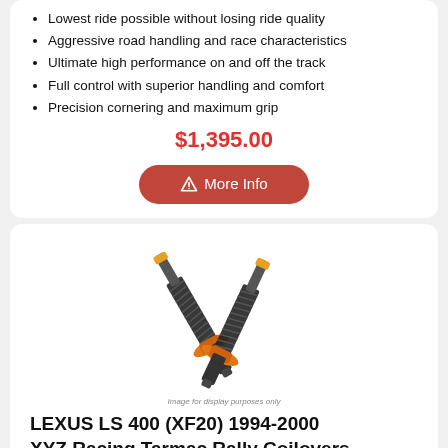Lowest ride possible without losing ride quality
Aggressive road handling and race characteristics
Ultimate high performance on and off the track
Full control with superior handling and comfort
Precision cornering and maximum grip
$1,395.00
More Info
[Figure (photo): XYZ Racing coilover suspension kit with orange adjustable perches and black coil springs]
Image for display purposes only
LEXUS LS 400 (XF20) 1994-2000 XYZ Racing Tarmac Rally Coilovers